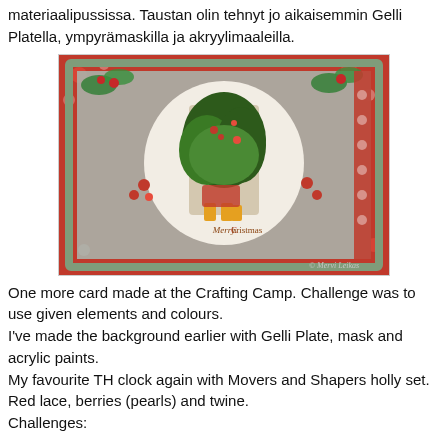materiaalipussissa. Taustan olin tehnyt jo aikaisemmin Gelli Platella, ympyrämaskilla ja akryylimaaleilla.
[Figure (photo): A handmade Christmas card featuring a vintage-style image of two children carrying a large Christmas tree/holly, surrounded by decorative red floral patterned paper, lace, red berries, and a 'Merry Christmas' greeting. Watermark reads 'Mervi Leikas'.]
One more card made at the Crafting Camp. Challenge was to use given elements and colours.
I've made the background earlier with Gelli Plate, mask and acrylic paints.
My favourite TH clock again with Movers and Shapers holly set. Red lace, berries (pearls) and twine.
Challenges: